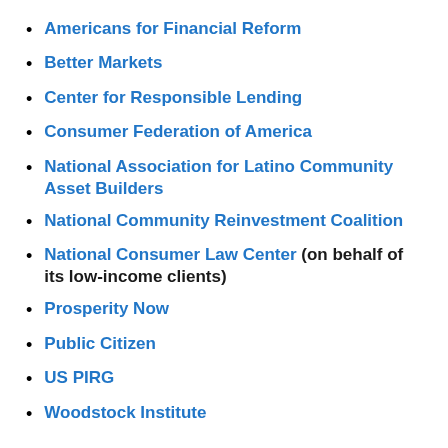Americans for Financial Reform
Better Markets
Center for Responsible Lending
Consumer Federation of America
National Association for Latino Community Asset Builders
National Community Reinvestment Coalition
National Consumer Law Center (on behalf of its low-income clients)
Prosperity Now
Public Citizen
US PIRG
Woodstock Institute